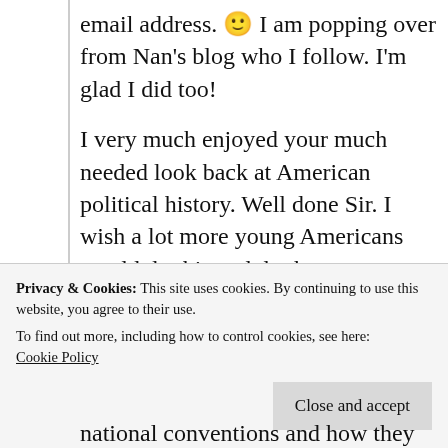email address. 🙂 I am popping over from Nan's blog who I follow. I'm glad I did too!
I very much enjoyed your much needed look back at American political history. Well done Sir. I wish a lot more young Americans would do this and do the necessary homework/legwork to make well-informed decisions and opinions about the United States, its designed Constitutional
Privacy & Cookies: This site uses cookies. By continuing to use this website, you agree to their use.
To find out more, including how to control cookies, see here: Cookie Policy
Close and accept
national conventions and how they work to